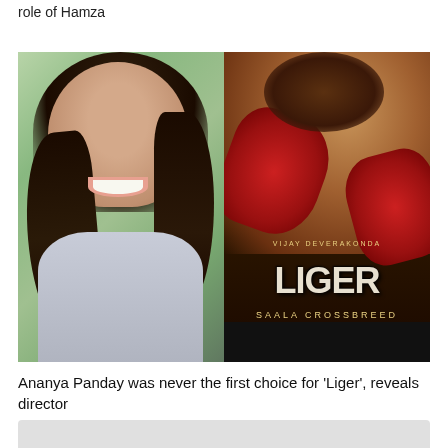role of Hamza
[Figure (photo): Left: Portrait photo of Ananya Panday smiling with long dark hair. Right: Movie poster for 'Liger' featuring Vijay Deverakonda with boxing gloves, text reads 'VIJAY DEVERAKONDA', 'LIGER', 'SAALA CROSSBREED']
Ananya Panday was never the first choice for 'Liger', reveals director
[Figure (photo): Partially visible image at the bottom of the page, appears to be another photo (cropped)]